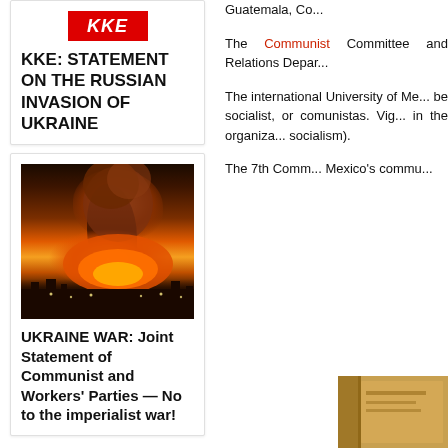[Figure (logo): KKE red logo with stylized letters]
KKE: STATEMENT ON THE RUSSIAN INVASION OF UKRAINE
[Figure (photo): Nighttime explosion with large fireball and smoke cloud over a city]
UKRAINE WAR: Joint Statement of Communist and Workers' Parties — No to the imperialist war!
Guatemala, Co...
The Communist Committee and Relations Depar...
The international University of Me... be socialist, or comunistas. Vig... in the organiza... socialism).
The 7th Comm... Mexico's commu...
SOCIALISM, COMMUNISM...